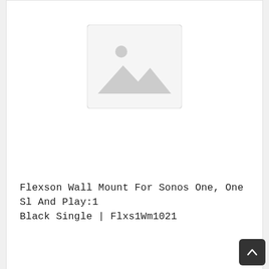[Figure (photo): Product image placeholder with mountain/image icon for first product card]
Flexson Wall Mount For Sonos One, One Sl And Play:1 Black Single | Flxs1Wm1021
Kaina  29.39 €
[Figure (photo): Product image placeholder with mountain/image icon for second product card]
Flexson Wall Mount For Sonos One, One Sl And Play:1